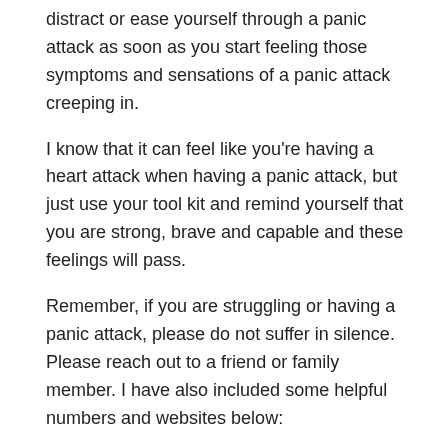distract or ease yourself through a panic attack as soon as you start feeling those symptoms and sensations of a panic attack creeping in.
I know that it can feel like you're having a heart attack when having a panic attack, but just use your tool kit and remind yourself that you are strong, brave and capable and these feelings will pass.
Remember, if you are struggling or having a panic attack, please do not suffer in silence. Please reach out to a friend or family member. I have also included some helpful numbers and websites below:
Samaritans – Call 116 123 for support 24/7
Shout – Text 'Shout' to 85258 for support 24/7
Calm – Call 0800 58 58 58 or use webchat for